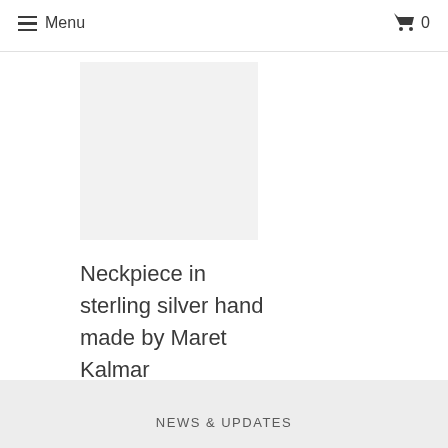Menu   🛒 0
[Figure (photo): Product image placeholder — light gray square representing a neckpiece in sterling silver]
Neckpiece in sterling silver hand made by Maret Kalmar
$795.00
NEWS & UPDATES